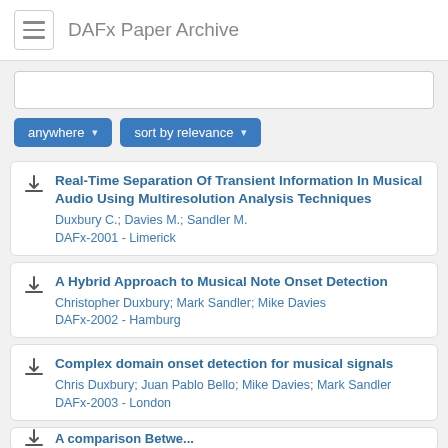DAFx Paper Archive
Real-Time Separation Of Transient Information In Musical Audio Using Multiresolution Analysis Techniques
Duxbury C.; Davies M.; Sandler M.
DAFx-2001 - Limerick
A Hybrid Approach to Musical Note Onset Detection
Christopher Duxbury; Mark Sandler; Mike Davies
DAFx-2002 - Hamburg
Complex domain onset detection for musical signals
Chris Duxbury; Juan Pablo Bello; Mike Davies; Mark Sandler
DAFx-2003 - London